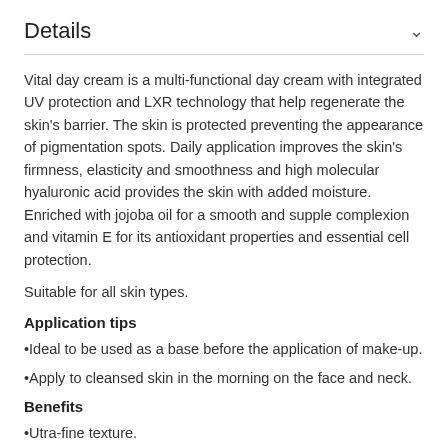Details
Vital day cream is a multi-functional day cream with integrated UV protection and LXR technology that help regenerate the skin's barrier. The skin is protected preventing the appearance of pigmentation spots. Daily application improves the skin's firmness, elasticity and smoothness and high molecular hyaluronic acid provides the skin with added moisture. Enriched with jojoba oil for a smooth and supple complexion and vitamin E for its antioxidant properties and essential cell protection.
Suitable for all skin types.
Application tips
•Ideal to be used as a base before the application of make-up.
•Apply to cleansed skin in the morning on the face and neck.
Benefits
•Utra-fine texture.